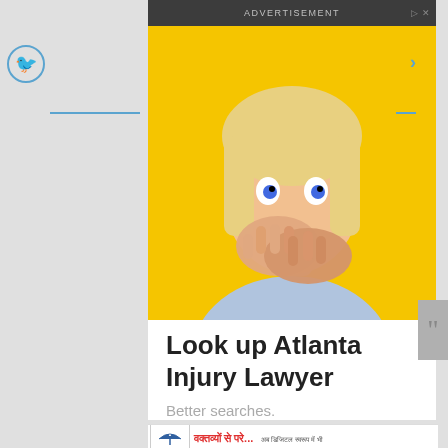ADVERTISEMENT
[Figure (photo): Woman with blonde hair covering her mouth with both hands, surprised expression, yellow background]
Look up Atlanta Injury Lawyer
Better searches.
[Figure (illustration): Hindi language advertisement banner with umbrella logo, text in Devanagari script: वक्तव्यों से परे... and smaller Hindi text]
[Figure (logo): Twitter bird icon, circular blue border]